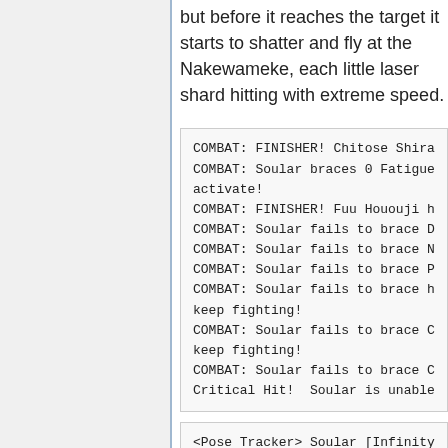but before it reaches the target it starts to shatter and fly at the Nakewameke, each little laser shard hitting with extreme speed.
COMBAT: FINISHER! Chitose Shira
COMBAT: Soular braces 0 Fatigue
activate!
COMBAT: FINISHER! Fuu Hououji h
COMBAT: Soular fails to brace D
COMBAT: Soular fails to brace N
COMBAT: Soular fails to brace P
COMBAT: Soular fails to brace h
keep fighting!
COMBAT: Soular fails to brace C
keep fighting!
COMBAT: Soular fails to brace C
Critical Hit!  Soular is unable
<Pose Tracker> Soular [Infinity
<SoundTracker> Pretty Cure Dash